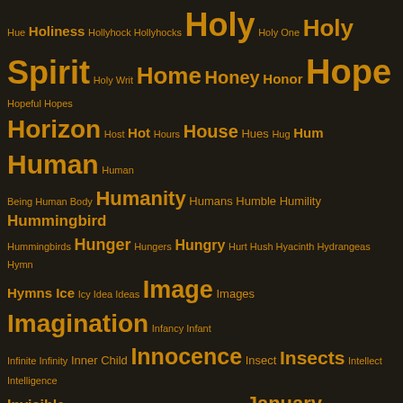[Figure (infographic): Word cloud on dark brown/black background with golden/orange text. Words of varying sizes representing concepts starting with H through L, including Holy Spirit, Home, Hope, Horizon, Human, Humanity, Hunger, Imagination, Innocence, Insects, January, Jesus, Joy, Kindness, Knowledge, Land, Landscape, Laughter, Leaves, Life, Light, and many smaller words.]